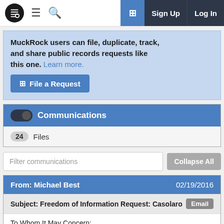MuckRock navigation bar with logo, hamburger menu, search, new request button, Sign Up, Log In
MuckRock users can file, duplicate, track, and share public records requests like this one. Learn more.
File a Request
Communications
24 Files
Filter communications
Collapse All
From: Michael Best  02/19/2016
Subject: Freedom of Information Request: Casolaro  Email
To Whom It May Concern: